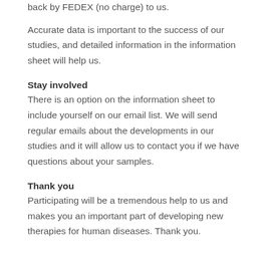back by FEDEX (no charge) to us.
Accurate data is important to the success of our studies, and detailed information in the information sheet will help us.
Stay involved
There is an option on the information sheet to include yourself on our email list. We will send regular emails about the developments in our studies and it will allow us to contact you if we have questions about your samples.
Thank you
Participating will be a tremendous help to us and makes you an important part of developing new therapies for human diseases. Thank you.